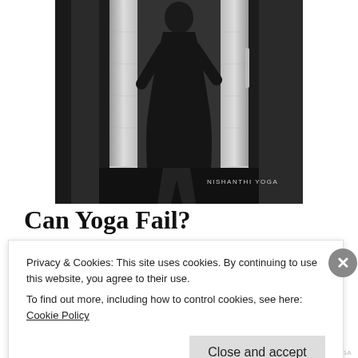[Figure (photo): Black and white photo of a woman in a dress standing in a doorway or elevator entrance, with bright vertical light panels on either side. Text 'NISHANTHI YOGA' appears in the lower right of the image.]
Can Yoga Fail?
Privacy & Cookies: This site uses cookies. By continuing to use this website, you agree to their use.
To find out more, including how to control cookies, see here: Cookie Policy
Close and accept